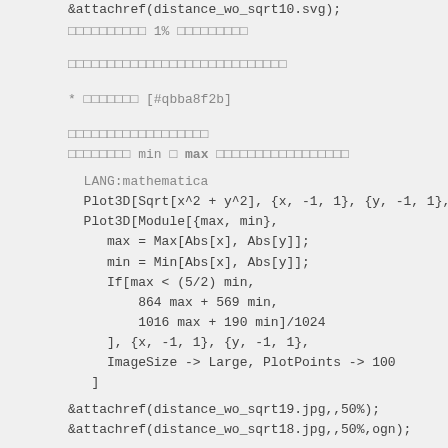&attachref(distance_wo_sqrt10.svg);
□□□□□□□□□□ 1% □□□□□□□□□
□□□□□□□□□□□□□□□□□□□□□□□□□□□□
* □□□□□□□ [#qbba8f2b]
□□□□□□□□□□□□□□□□□□
□□□□□□□□ min □ max □□□□□□□□□□□□□□□□□
LANG:mathematica
Plot3D[Sqrt[x^2 + y^2], {x, -1, 1}, {y, -1, 1}, Ima
Plot3D[Module[{max, min},
   max = Max[Abs[x], Abs[y]];
   min = Min[Abs[x], Abs[y]];
   If[max < (5/2) min,
      864 max + 569 min,
      1016 max + 190 min]/1024
   ], {x, -1, 1}, {y, -1, 1},
   ImageSize -> Large, PlotPoints -> 100
 ]
&attachref(distance_wo_sqrt19.jpg,,50%);
&attachref(distance_wo_sqrt18.jpg,,50%,ogn);